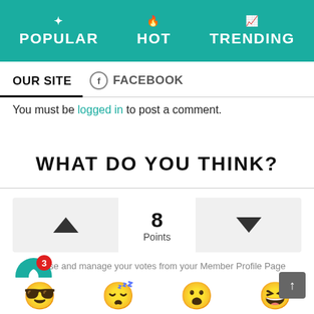POPULAR   HOT   TRENDING
OUR SITE   FACEBOOK
You must be logged in to post a comment.
WHAT DO YOU THINK?
[Figure (other): Voting widget with up arrow, 8 Points score, and down arrow buttons]
Browse and manage your votes from your Member Profile Page
228 Sports: East Central beats Moss Point again [PHOTO
6 hours ago